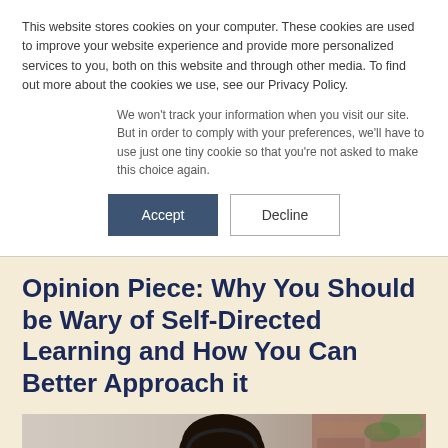This website stores cookies on your computer. These cookies are used to improve your website experience and provide more personalized services to you, both on this website and through other media. To find out more about the cookies we use, see our Privacy Policy.
We won't track your information when you visit our site. But in order to comply with your preferences, we'll have to use just one tiny cookie so that you're not asked to make this choice again.
[Figure (other): Two buttons: 'Accept' (dark navy filled) and 'Decline' (white with border)]
Opinion Piece: Why You Should be Wary of Self-Directed Learning and How You Can Better Approach it
[Figure (photo): Photo of a young Black woman wearing headphones and glasses, smiling, with plants and a brick wall in the background]